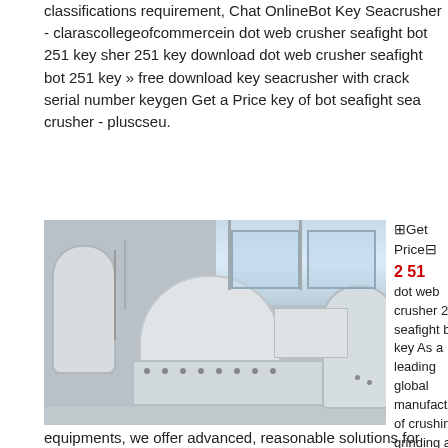classifications requirement, Chat OnlineBot Key Seacrusher - clarascollegeofcommercein dot web crusher seafight bot 251 key sher 251 key download dot web crusher seafight bot 251 key » free download key seacrusher with crack serial number keygen Get a Price key of bot seafight sea crusher - pluscseu.
[Figure (photo): Industrial crushing/grinding equipment (cone crusher) in a factory or workshop setting, white machinery on a platform]
⊞Get Price⊟
2 51
dot web crusher 2 51 seafight bot key As a leading global manufacturer of crushing, grinding and mining equipments, we offer advanced, reasonable solutions for any size-reduction requirements including quarry, aggregate, and different kinds of mineralssea crusher bot ayarlari sea crusher key 2 81 ayarlargrinding mill equipmentsea crusher bot ayarlariZCRUSHERseafight dot web crusher seafight , read more sea crusher ayarlar astorfoilscoin sea crusher bot ayarlar grinding mill equipment This is a discussion on Release SeaCrusher SF Bot by
equipments, we offer advanced, reasonable solutions for any size-reduction requirements including quarry, aggregate, and different kinds of mineralssea crusher bot ayarlari sea crusher key 2 81 ayarlargrinding mill equipmentsea crusher bot ayarlariZCRUSHERseafight dot web crusher seafight , read more sea crusher ayarlar astorfoilscoin sea crusher bot ayarlar grinding mill equipment This is a discussion on Release SeaCrusher SF Bot by